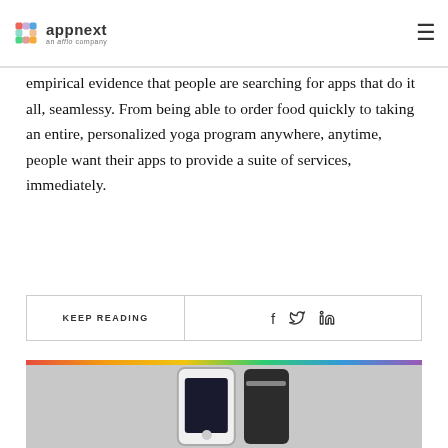appnext — an afflo company
empirical evidence that people are searching for apps that do it all, seamlessy. From being able to order food quickly to taking an entire, personalized yoga program anywhere, anytime, people want their apps to provide a suite of services, immediately.
KEEP READING
[Figure (photo): Photo of a white smartphone and a dark cylindrical speaker against a reddish brick background, with a rainbow color strip at the top]